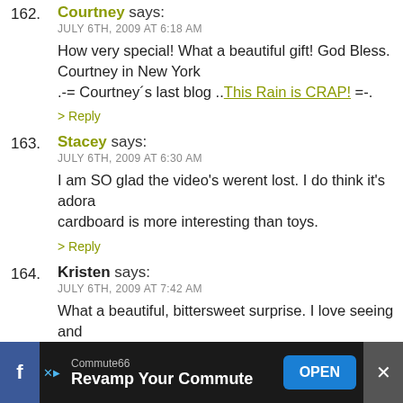162. Courtney says: JULY 6TH, 2009 AT 6:18 AM
How very special! What a beautiful gift! God Bless. Courtney in New York
.-= Courtney's last blog ..This Rain is CRAP! =-.
> Reply
163. Stacey says: JULY 6TH, 2009 AT 6:30 AM
I am SO glad the video's werent lost. I do think it's adora... cardboard is more interesting than toys.
> Reply
164. Kristen says: JULY 6TH, 2009 AT 7:42 AM
What a beautiful, bittersweet surprise. I love seeing and... I am so happy for you that you found these.
> Reply
[Figure (screenshot): Advertisement bar at bottom: Commute66 app ad with Facebook icon, X ad badge, brand name, headline 'Revamp Your Commute', blue OPEN button, and close X button]